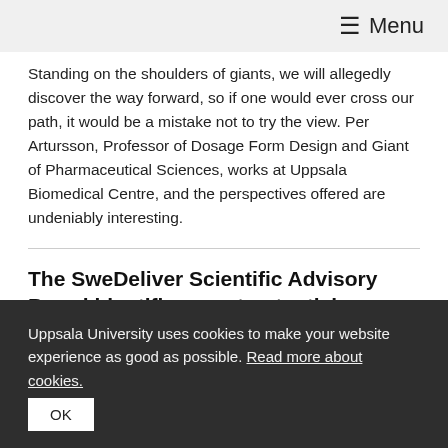≡ Menu
Standing on the shoulders of giants, we will allegedly discover the way forward, so if one would ever cross our path, it would be a mistake not to try the view. Per Artursson, Professor of Dosage Form Design and Giant of Pharmaceutical Sciences, works at Uppsala Biomedical Centre, and the perspectives offered are undeniably interesting.
The SweDeliver Scientific Advisory Board identifies great potential
2020-11-06
“Our Scientific Advisory Board expressed that SweDeliver
Uppsala University uses cookies to make your website experience as good as possible. Read more about cookies.